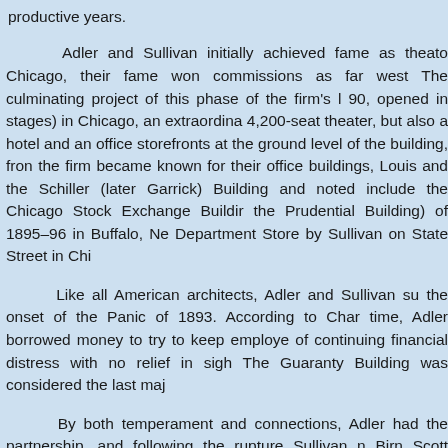productive years.
Adler and Sullivan initially achieved fame as theater architects in Chicago, their fame won commissions as far west as The culminating project of this phase of the firm's 90, opened in stages) in Chicago, an extraordina 4,200-seat theater, but also a hotel and an office storefronts at the ground level of the building, from the firm became known for their office buildings, Louis and the Schiller (later Garrick) Building and noted include the Chicago Stock Exchange Buildin the Prudential Building) of 1895–96 in Buffalo, Ne Department Store by Sullivan on State Street in Chi
Like all American architects, Adler and Sullivan su the onset of the Panic of 1893. According to Char time, Adler borrowed money to try to keep employe of continuing financial distress with no relief in sigh The Guaranty Building was considered the last maj
By both temperament and connections, Adler had the partnership, and following the rupture Sullivan Birn Scott Department Store. However, in to